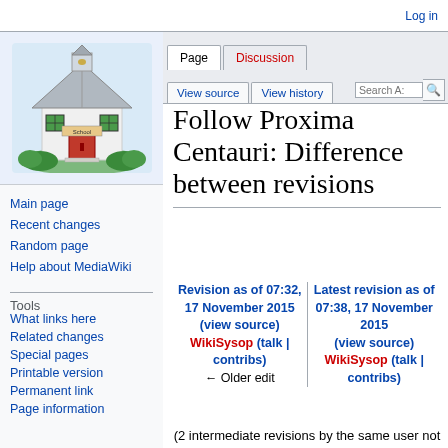Log in
[Figure (illustration): Schoolhouse illustration - white building with gray metal roof, red door, green windows, surrounded by green bushes]
Main page
Recent changes
Random page
Help about MediaWiki
Tools
What links here
Related changes
Special pages
Printable version
Permanent link
Page information
Follow Proxima Centauri: Difference between revisions
Revision as of 07:32, 17 November 2015 (view source) WikiSysop (talk | contribs)
← Older edit
Latest revision as of 07:38, 17 November 2015 (view source) WikiSysop (talk | contribs)
(2 intermediate revisions by the same user not shown)